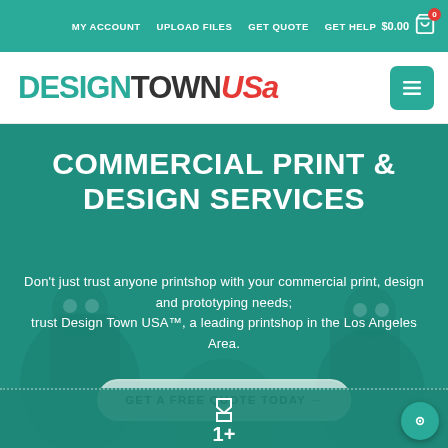MY ACCOUNT  UPLOAD FILES  GET QUOTE  GET HELP  $0.00  0
[Figure (logo): DESIGNTOWNUSA logo with teal DESIGN, dark TOWN, red italic USA text]
COMMERCIAL PRINT & DESIGN SERVICES
Don't just trust anyone printshop with your commercial print, design and prototyping needs; trust Design Town USA™, a leading printshop in the Los Angeles Area.
GET A FREE QUOTE TODAY →
[Figure (infographic): Stats section with hourglass icon and 1+ text on teal background]